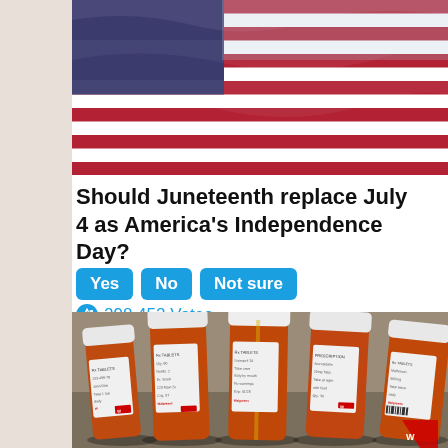[Figure (photo): American flag waving, red and blue colors visible]
Should Juneteenth replace July 4 as America's Independence Day?
Yes  No  Not sure
298,452 Votes
[Figure (photo): Five amber prescription medicine bottles lying on their sides on a gray surface, showing Walgreens labels]